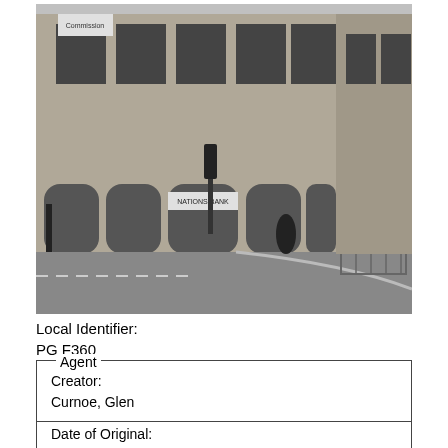[Figure (photo): Black and white photograph of a multi-storey brick building on a street corner, showing arched windows and storefronts at ground level with a NationsBank sign visible. The street in the foreground shows a curved curb and road markings.]
Local Identifier:
PG F360
Agent
Creator:
Curnoe, Glen
Date of Original:
1988-01-01 (All day) - 1988-12-31 (All day)
Date of Digital Creation: